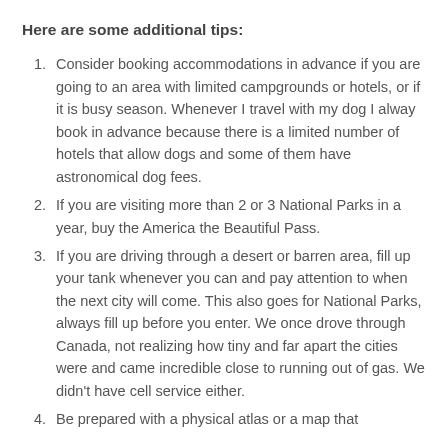Here are some additional tips:
Consider booking accommodations in advance if you are going to an area with limited campgrounds or hotels, or if it is busy season.  Whenever I travel with my dog I alway book in advance because there is a limited number of hotels that allow dogs and some of them have astronomical dog fees.
If you are visiting more than 2 or 3 National Parks in a year, buy the America the Beautiful Pass.
If you are driving through a desert or barren area, fill up your tank whenever you can and pay attention to when the next city will come.  This also goes for National Parks, always fill up before you enter.  We once drove through Canada, not realizing how tiny and far apart the cities were and came incredible close to running out of gas.  We didn't have cell service either.
Be prepared with a physical atlas or a map that